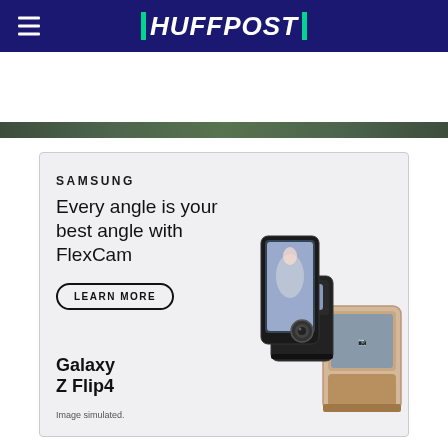HUFFPOST
[Figure (photo): HuffPost website screenshot showing navigation header with hamburger menu and HuffPost logo, a hero image strip of trees/nature, a Samsung Galaxy Z Flip4 advertisement with FlexCam headline, and the beginning of a 'BEFORE YOU GO' section.]
SAMSUNG
Every angle is your best angle with FlexCam
LEARN MORE
Galaxy
Z Flip4
Image simulated.
BEFORE YOU GO